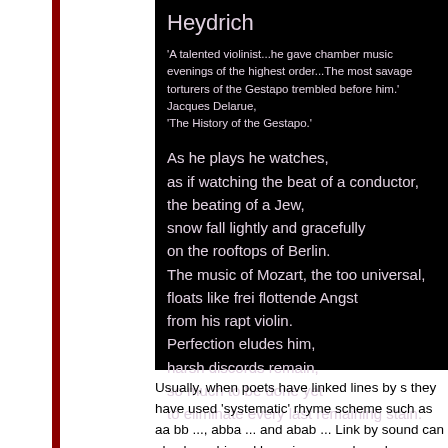[Figure (other): Black background box containing a poem titled 'Heydrich' with an epigraph quote from Jacques Delarue's 'The History of the Gestapo' followed by a poem about Heydrich playing violin.]
Usually, when poets have linked lines by s they have used 'systematic' rhyme scheme such as aa bb ..., abba ... and abab ... Link by sound can also be achieved by using a regular scheme, as in the example above, the 5th, 8th, 10th and 12th lines are linked